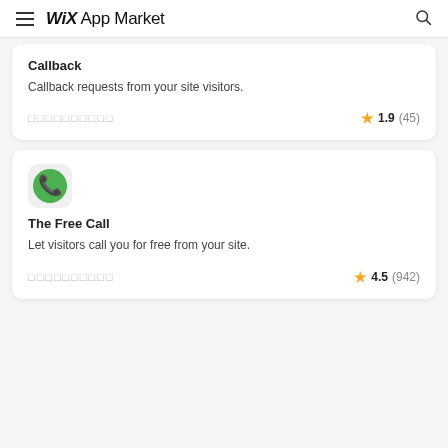WiX App Market
Callback
Callback requests from your site visitors.
□□□□□□□□□□  ★ 1.9 (45)
[Figure (logo): Green phone icon for The Free Call app]
The Free Call
Let visitors call you for free from your site.
□□□□□□□□□□  ★ 4.5 (942)